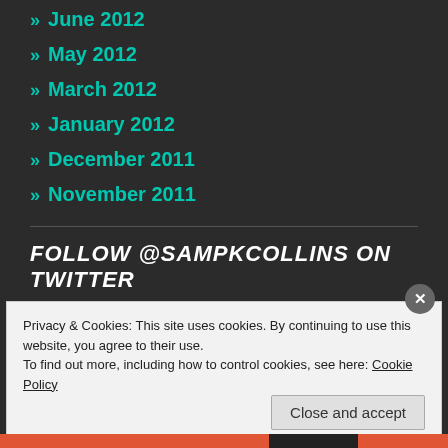» June 2012
» May 2012
» March 2012
» January 2012
» December 2011
» November 2011
FOLLOW @SAMPKCOLLINS ON TWITTER
My Tweets
Privacy & Cookies: This site uses cookies. By continuing to use this website, you agree to their use.
To find out more, including how to control cookies, see here: Cookie Policy
Close and accept